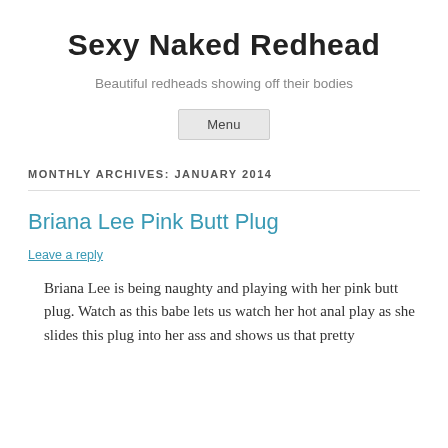Sexy Naked Redhead
Beautiful redheads showing off their bodies
Menu
MONTHLY ARCHIVES: JANUARY 2014
Briana Lee Pink Butt Plug
Leave a reply
Briana Lee is being naughty and playing with her pink butt plug. Watch as this babe lets us watch her hot anal play as she slides this plug into her ass and shows us that pretty